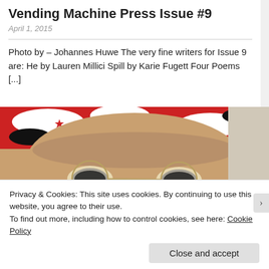Vending Machine Press Issue #9
April 1, 2015
Photo by – Johannes Huwe The very fine writers for Issue 9 are: He by Lauren Millici Spill by Karie Fugett Four Poems [...]
[Figure (photo): Close-up photo of a dog wearing a red, white, and black camouflage bandana and small eyeglasses]
Privacy & Cookies: This site uses cookies. By continuing to use this website, you agree to their use.
To find out more, including how to control cookies, see here: Cookie Policy
Close and accept